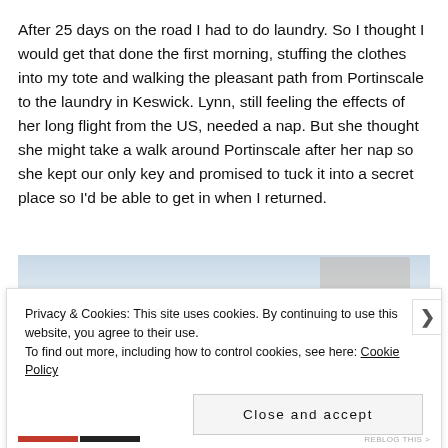After 25 days on the road I had to do laundry. So I thought I would get that done the first morning, stuffing the clothes into my tote and walking the pleasant path from Portinscale to the laundry in Keswick. Lynn, still feeling the effects of her long flight from the US, needed a nap. But she thought she might take a walk around Portinscale after her nap so she kept our only key and promised to tuck it into a secret place so I'd be able to get in when I returned.
[Figure (photo): Partial view of an outdoor photograph, mostly obscured by the cookie consent banner overlay]
Privacy & Cookies: This site uses cookies. By continuing to use this website, you agree to their use.
To find out more, including how to control cookies, see here: Cookie Policy
Close and accept